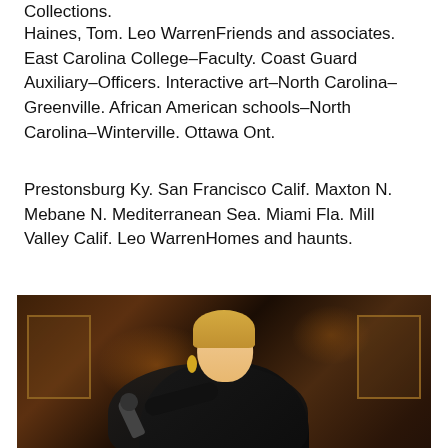Collections.
Haines, Tom. Leo WarrenFriends and associates. East Carolina College–Faculty. Coast Guard Auxiliary–Officers. Interactive art–North Carolina–Greenville. African American schools–North Carolina–Winterville. Ottawa Ont.
Prestonsburg Ky. San Francisco Calif. Maxton N. Mebane N. Mediterranean Sea. Miami Fla. Mill Valley Calif. Leo WarrenHomes and haunts.
[Figure (photo): A woman with blonde hair in an updo wearing a black dress singing passionately into a microphone on a stage with warm amber lighting and stage decorations in the background.]